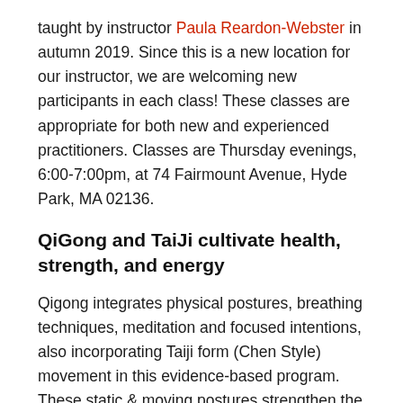taught by instructor Paula Reardon-Webster in autumn 2019. Since this is a new location for our instructor, we are welcoming new participants in each class! These classes are appropriate for both new and experienced practitioners. Classes are Thursday evenings, 6:00-7:00pm, at 74 Fairmount Avenue, Hyde Park, MA 02136.
QiGong and TaiJi cultivate health, strength, and energy
Qigong integrates physical postures, breathing techniques, meditation and focused intentions, also incorporating Taiji form (Chen Style) movement in this evidence-based program. These static & moving postures strengthen the lower body, improve functional balance, and provide many other holistic benefits.
The Instructor